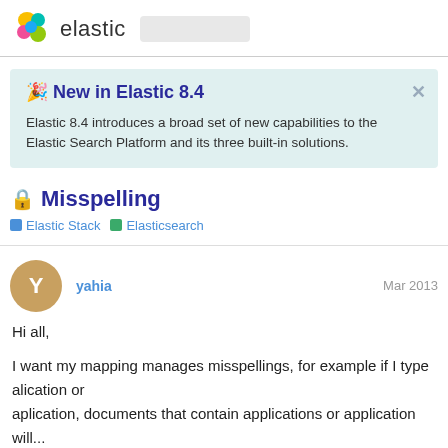elastic
🎉 New in Elastic 8.4
Elastic 8.4 introduces a broad set of new capabilities to the Elastic Search Platform and its three built-in solutions.
🔒 Misspelling
Elastic Stack  Elasticsearch
yahia  Mar 2013
Hi all,

I want my mapping manages misspellings, for example if I type alication or
aplication, documents that contain applications or application will...